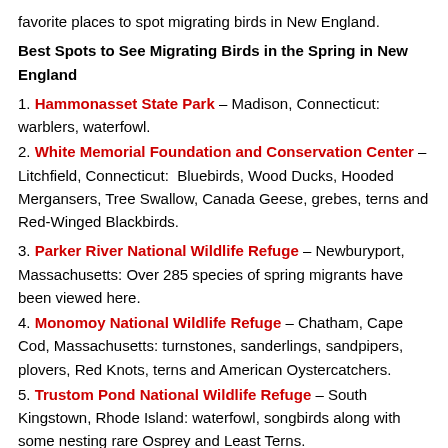favorite places to spot migrating birds in New England.
Best Spots to See Migrating Birds in the Spring in New England
1. Hammonasset State Park – Madison, Connecticut: warblers, waterfowl.
2. White Memorial Foundation and Conservation Center – Litchfield, Connecticut: Bluebirds, Wood Ducks, Hooded Mergansers, Tree Swallow, Canada Geese, grebes, terns and Red-Winged Blackbirds.
3. Parker River National Wildlife Refuge – Newburyport, Massachusetts: Over 285 species of spring migrants have been viewed here.
4. Monomoy National Wildlife Refuge – Chatham, Cape Cod, Massachusetts: turnstones, sanderlings, sandpipers, plovers, Red Knots, terns and American Oystercatchers.
5. Trustom Pond National Wildlife Refuge – South Kingstown, Rhode Island: waterfowl, songbirds along with some nesting rare Osprey and Least Terns.
6. Norman Bird Sanctuary – Middletown, Rhode Island: warblers,